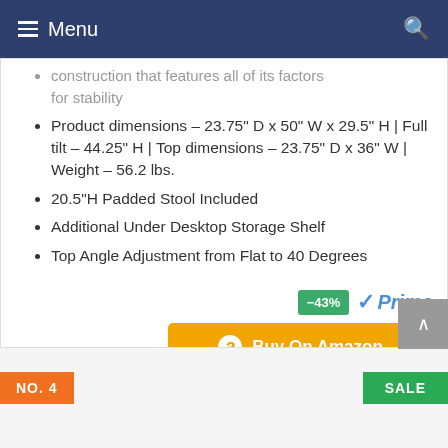Menu
...construction that features all of its factors for stability
Product dimensions – 23.75" D x 50" W x 29.5" H | Full tilt – 44.25" H | Top dimensions – 23.75" D x 36" W | Weight – 56.2 lbs.
20.5"H Padded Stool Included
Additional Under Desktop Storage Shelf
Top Angle Adjustment from Flat to 40 Degrees
[Figure (logo): Amazon Prime logo with checkmark and -43% discount badge]
[Figure (other): Buy On Amazon orange button with Amazon icon]
NO. 4
SALE